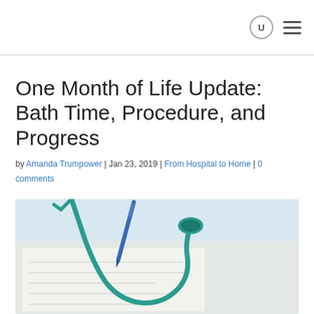One Month of Life Update: Bath Time, Procedure, and Progress
by Amanda Trumpower | Jan 23, 2019 | From Hospital to Home | 0 comments
[Figure (photo): Photo of a stethoscope and medical documents on a desk with a pen]